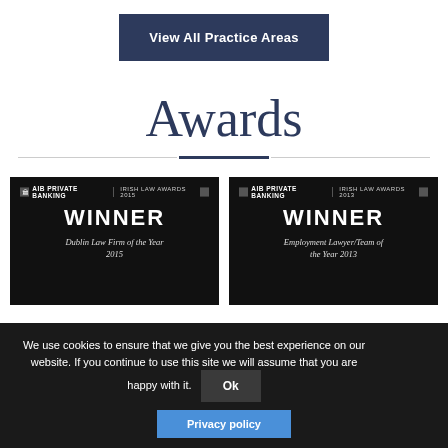View All Practice Areas
Awards
[Figure (photo): Two award plaques: AIB Private Banking Irish Law Awards 2015 WINNER Dublin Law Firm of the Year 2015, and AIB Private Banking Irish Law Awards 2013 WINNER Employment Lawyer/Team of the Year 2013]
We use cookies to ensure that we give you the best experience on our website. If you continue to use this site we will assume that you are happy with it.
Ok
Privacy policy